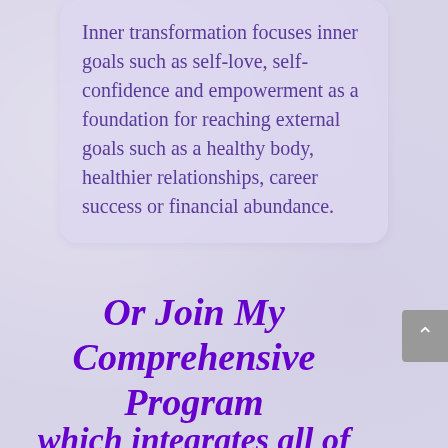Inner transformation focuses inner goals such as self-love, self-confidence and empowerment as a foundation for reaching external goals such as a healthy body, healthier relationships, career success or financial abundance.
Or Join My Comprehensive Program
which integrates all of